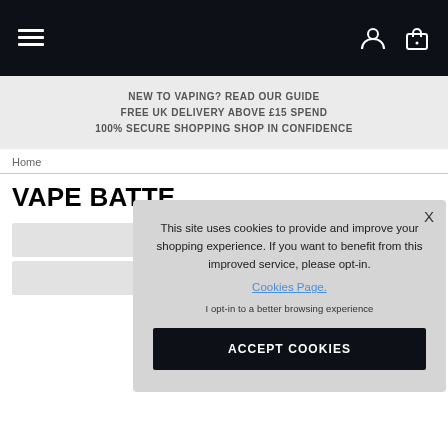Navigation bar with hamburger menu, search, account, and bag icons
NEW TO VAPING? READ OUR GUIDE
FREE UK DELIVERY ABOVE £15 SPEND
100% SECURE SHOPPING SHOP IN CONFIDENCE
Home
VAPE BATTE...
This site uses cookies to provide and improve your shopping experience. If you want to benefit from this improved service, please opt-in. Cookies Page. I opt-in to a better browsing experience
ACCEPT COOKIES